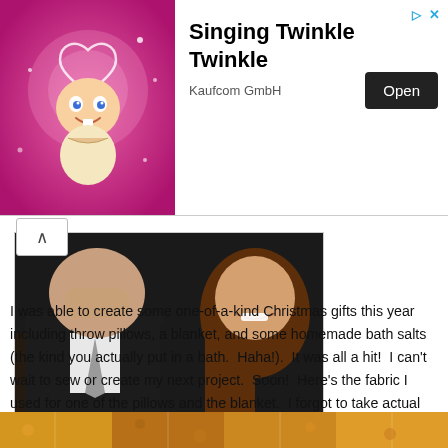[Figure (other): Advertisement banner for 'Singing Twinkle Twinkle' app by Kaufcom GmbH, featuring an animated baby character on a pink background, with an 'Open' button.]
[Figure (photo): Close-up photo of a man in a dark suit with a grey tie and a woman with long brown hair, both smiling.]
I was able to create some one-of-a-kind Christmas gifts this year including throw pillows, a blanket, and some homemade bath salts (the kind you actually put in a bath.  Haha!).  It was all a hit!  I can't wait to sew or create my next project.  Soon!  Here's the fabric I used for one of the pillows and the blanket.  I forgot to take actual photos.
[Figure (photo): Partial view of colorful fabric used for pillows and blanket Christmas gifts.]